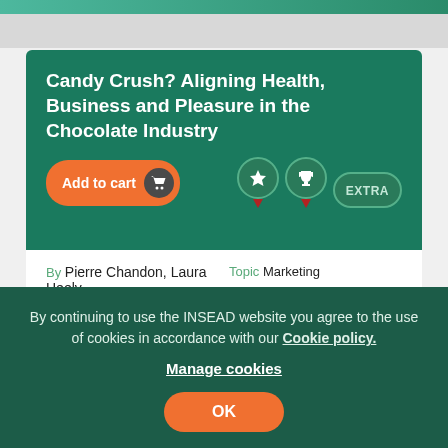Candy Crush? Aligning Health, Business and Pleasure in the Chocolate Industry
By Pierre Chandon, Laura Heely
Reference 6317
Published 06 Jun 2018
Topic Marketing
Region Europe
Industry Dairy, Food and Beverages Production
After winning important battles against soda, governments and health activists are targeting chocolate bars because of their high sugar content, and some, like the UK government in 2017, have set strict targets on the amount of sugar and calories that
By continuing to use the INSEAD website you agree to the use of cookies in accordance with our Cookie policy.
Manage cookies
OK